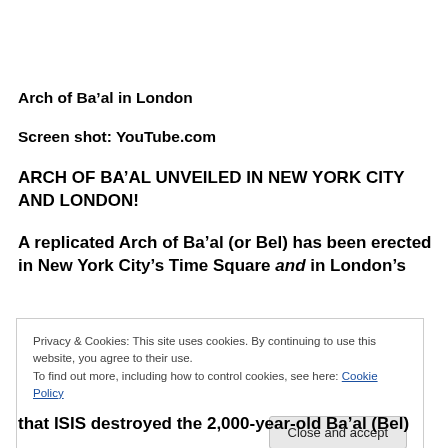Arch of Ba'al in London
Screen shot: YouTube.com
ARCH OF BA'AL UNVEILED IN NEW YORK CITY AND LONDON!
A replicated Arch of Ba'al (or Bel) has been erected in New York City's Time Square and in London's
Privacy & Cookies: This site uses cookies. By continuing to use this website, you agree to their use.
To find out more, including how to control cookies, see here: Cookie Policy
that ISIS destroyed the 2,000-year-old Ba'al (Bel)